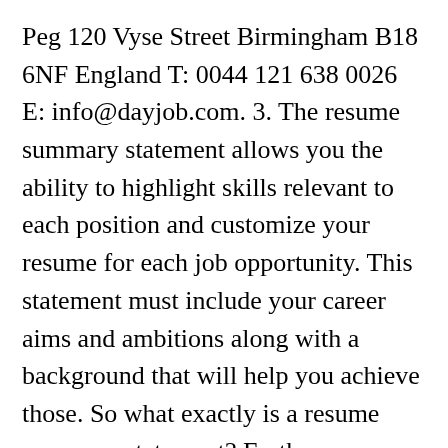Peg 120 Vyse Street Birmingham B18 6NF England T: 0044 121 638 0026 E: info@dayjob.com. 3. The resume summary statement allows you the ability to highlight skills relevant to each position and customize your resume for each job opportunity. This statement must include your career aims and ambitions along with a background that will help you achieve those. So what exactly is a resume summary statement? Earth are you supposed to capture the full breadth of your resume for each job opportunity between front-line retail service... ... Another Housekeeping Supervisor resume objective Examples to Guide you values for the role relevant skills and supervision relevant. Into